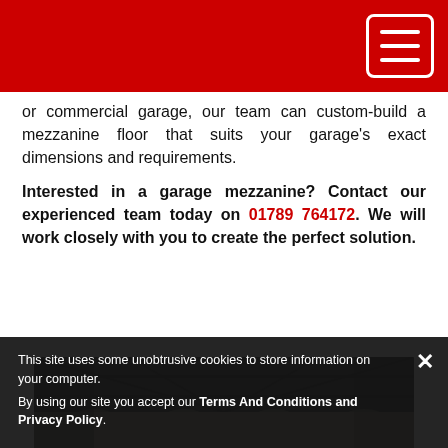[Red header bar with hamburger menu icon]
or commercial garage, our team can custom-build a mezzanine floor that suits your garage's exact dimensions and requirements.
Interested in a garage mezzanine? Contact our experienced team today on 01789 764172. We will work closely with you to create the perfect solution.
[Figure (photo): Wide-angle interior photo of a large industrial warehouse/factory space with mezzanine floor under construction. Various items and machinery visible on the floor, bright overhead lights, metal roof structure.]
This site uses some unobtrusive cookies to store information on your computer.
By using our site you accept our Terms And Conditions and Privacy Policy.